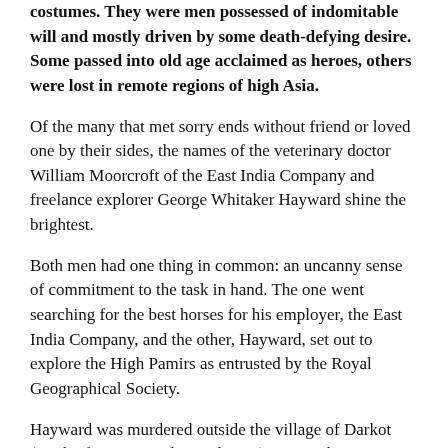costumes. They were men possessed of indomitable will and mostly driven by some death-defying desire. Some passed into old age acclaimed as heroes, others were lost in remote regions of high Asia.
Of the many that met sorry ends without friend or loved one by their sides, the names of the veterinary doctor William Moorcroft of the East India Company and freelance explorer George Whitaker Hayward shine the brightest.
Both men had one thing in common: an uncanny sense of commitment to the task in hand. The one went searching for the best horses for his employer, the East India Company, and the other, Hayward, set out to explore the High Pamirs as entrusted by the Royal Geographical Society.
Hayward was murdered outside the village of Darkot (north of Yasin in Gilgit-Baltistan) on 18 July, 1870. From that remote